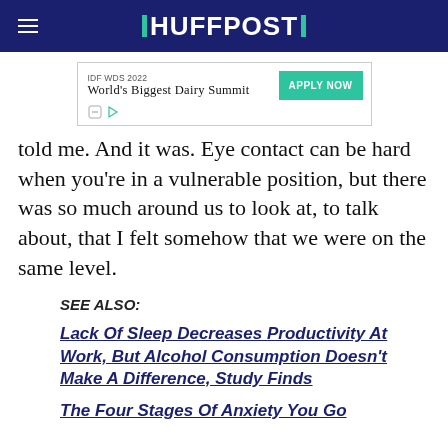HUFFPOST
[Figure (other): Advertisement banner: IDF WDS 2022 World's Biggest Dairy Summit with APPLY NOW button]
told me. And it was. Eye contact can be hard when you're in a vulnerable position, but there was so much around us to look at, to talk about, that I felt somehow that we were on the same level.
SEE ALSO:
Lack Of Sleep Decreases Productivity At Work, But Alcohol Consumption Doesn't Make A Difference, Study Finds
The Four Stages Of Anxiety You Go